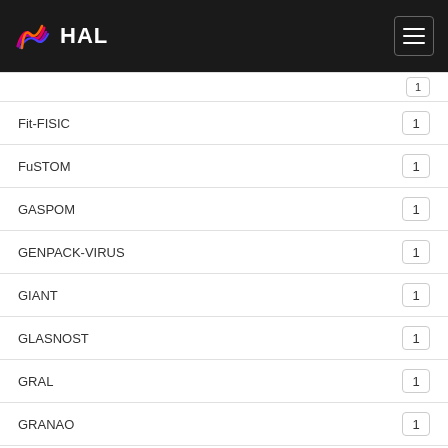HAL
Fit-FISIC 1
FuSTOM 1
GASPOM 1
GENPACK-VIRUS 1
GIANT 1
GLASNOST 1
GRAL 1
GRANAO 1
Geant4-DNA 1
GlyNanEP 1